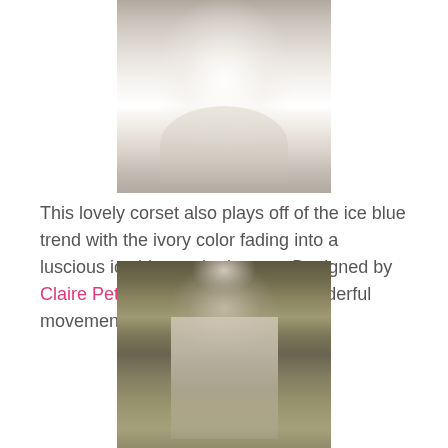[Figure (photo): A model wearing a white/ivory corset wedding gown with a full tulle skirt that fades to ice blue at the bottom, photographed on a runway with a light-colored architectural backdrop.]
This lovely corset also plays off of the ice blue trend with the ivory color fading into a luscious ice blue at the bottom. Designed by Claire Pettibone, this gown has wonderful movement and flow.
[Figure (photo): A model wearing a heavily embellished/beaded wedding gown with a deep V-neckline and cap sleeves, photographed in front of a lush green floral/garden backdrop.]